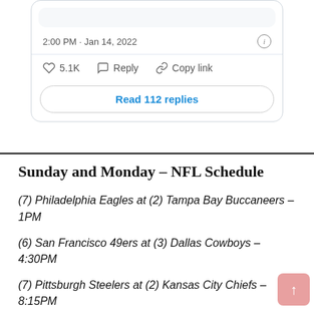2:00 PM · Jan 14, 2022
5.1K   Reply   Copy link
Read 112 replies
Sunday and Monday – NFL Schedule
(7) Philadelphia Eagles at (2) Tampa Bay Buccaneers – 1PM
(6) San Francisco 49ers at (3) Dallas Cowboys – 4:30PM
(7) Pittsburgh Steelers at (2) Kansas City Chiefs – 8:15PM
Monday, January 17